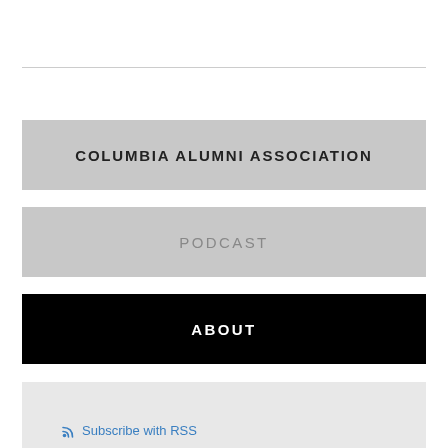COLUMBIA ALUMNI ASSOCIATION
PODCAST
ABOUT
Subscribe with RSS